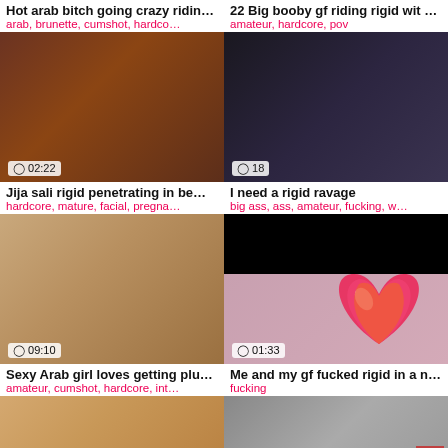Hot arab bitch going crazy ridin…
arab, brunette, cumshot, hardco…
22 Big booby gf riding rigid wit …
amateur, hardcore, pov
[Figure (photo): Video thumbnail showing adult content, duration 02:22]
[Figure (photo): Video thumbnail showing adult content, duration 18]
Jija sali rigid penetrating in be…
hardcore, mature, facial, pregna…
I need a rigid ravage
big ass, ass, amateur, fucking, w…
[Figure (photo): Video thumbnail showing adult content, duration 09:10]
[Figure (photo): Video thumbnail with heart overlay, duration 01:33]
Sexy Arab girl loves getting plu…
amateur, cumshot, hardcore, int…
Me and my gf fucked rigid in a n…
fucking
[Figure (photo): Video thumbnail showing adult content, partial view]
[Figure (photo): Video thumbnail showing adult content, partial view]